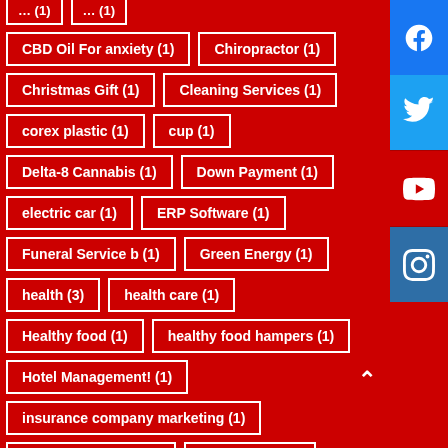CBD Oil For anxiety (1)
Chiropractor (1)
Christmas Gift (1)
Cleaning Services (1)
corex plastic (1)
cup (1)
Delta-8 Cannabis (1)
Down Payment (1)
electric car (1)
ERP Software (1)
Funeral Service b (1)
Green Energy (1)
health (3)
health care (1)
Healthy food (1)
healthy food hampers (1)
Hotel Management! (1)
insurance company marketing (1)
Local businesses (1)
Meat Online (1)